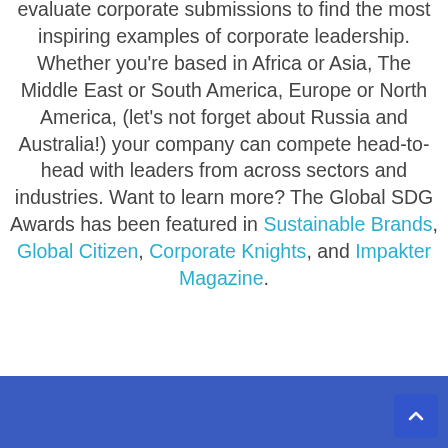evaluate corporate submissions to find the most inspiring examples of corporate leadership. Whether you're based in Africa or Asia, The Middle East or South America, Europe or North America, (let's not forget about Russia and Australia!) your company can compete head-to-head with leaders from across sectors and industries. Want to learn more? The Global SDG Awards has been featured in Sustainable Brands, Global Citizen, Corporate Knights, and Impakter Magazine.